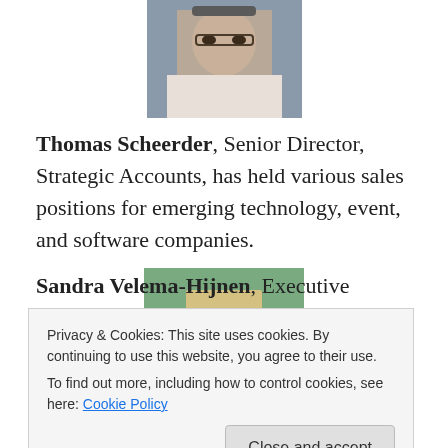[Figure (photo): Photo of Thomas Scheerder, a man with glasses, cropped headshot]
Thomas Scheerder, Senior Director, Strategic Accounts, has held various sales positions for emerging technology, event, and software companies.
[Figure (photo): Photo of Sandra Velema-Hijnen, a woman with short blonde hair, smiling outdoors]
Sandra Velema-Hijnen, Executive Director – Head of
Privacy & Cookies: This site uses cookies. By continuing to use this website, you agree to their use.
To find out more, including how to control cookies, see here: Cookie Policy
[Close and accept button]